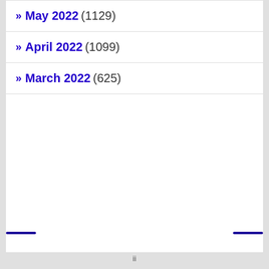» May 2022 (1129)
» April 2022 (1099)
» March 2022 (625)
[Figure (screenshot): Google Ads advertisement for Virginia Tire & Auto of Ashburn Farms featuring Goodyear Summer Savings, Up To $75 Off on Goodyear Tires at Virginia Tire & Auto, with a Google Maps view showing Patel Brothers location, and Store info and Directions buttons.]